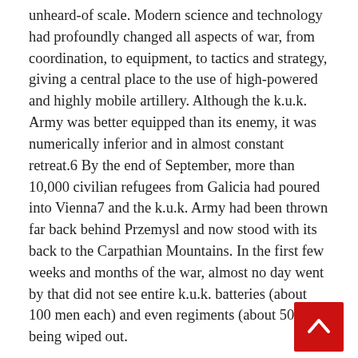unheard-of scale. Modern science and technology had profoundly changed all aspects of war, from coordination, to equipment, to tactics and strategy, giving a central place to the use of high-powered and highly mobile artillery. Although the k.u.k. Army was better equipped than its enemy, it was numerically inferior and in almost constant retreat.6 By the end of September, more than 10,000 civilian refugees from Galicia had poured into Vienna7 and the k.u.k. Army had been thrown far back behind Przemysl and now stood with its back to the Carpathian Mountains. In the first few weeks and months of the war, almost no day went by that did not see entire k.u.k. batteries (about 100 men each) and even regiments (about 500) being wiped out.
Artillery was not only the main agent of destruction, but also one of the prime targets. Mises's battery constantly had to change position, often under fire. Heavy rainfall set in, hampered their movements, and proved that k.u.k. uniforms